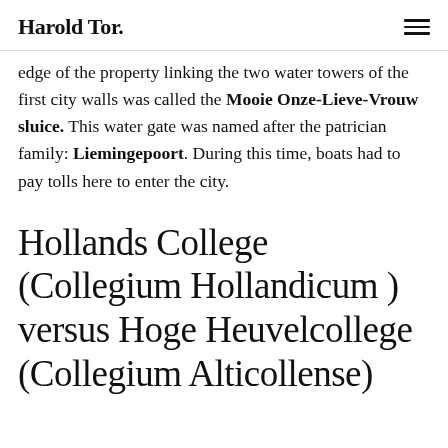Harold Tor.
edge of the property linking the two water towers of the first city walls was called the Mooie Onze-Lieve-Vrouw sluice. This water gate was named after the patrician family: Liemingepoort. During this time, boats had to pay tolls here to enter the city.
Hollands College (Collegium Hollandicum ) versus Hoge Heuvelcollege (Collegium Alticollense)